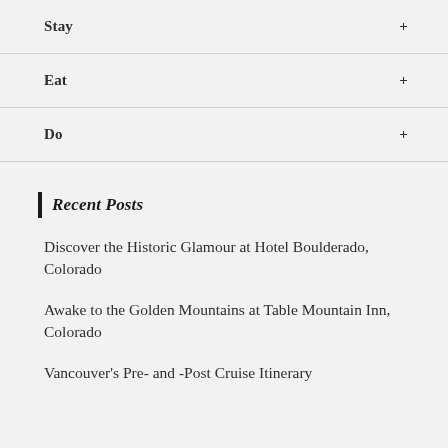Stay
Eat
Do
Recent Posts
Discover the Historic Glamour at Hotel Boulderado, Colorado
Awake to the Golden Mountains at Table Mountain Inn, Colorado
Vancouver's Pre- and -Post Cruise Itinerary